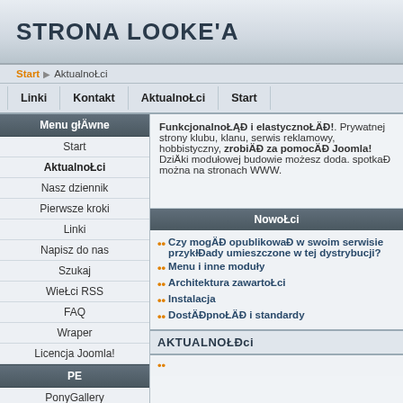STRONA LOOKE'A
Start ▶ AktualnoŁci
Linki | Kontakt | AktualnoŁci | Start
Menu głÄwne
Start
AktualnoŁci
Nasz dziennik
Pierwsze kroki
Linki
Napisz do nas
Szukaj
WieŁci RSS
FAQ
Wraper
Licencja Joomla!
PE
PonyGallery
Forum JB
FunkcjonalnoŁĄĐ i elastycznoŁÄĐ!. Prywatnej strony klubu, klanu, serwis reklamowy, hobbistyczny, zrobiÄĐ za pomocÄĐ Joomla! DziÄki modułowej budowie możesz doda. spotkaĐ można na stronach WWW.
NowoŁci
Czy mogÄĐ opublikowaĐ w swoim serwisie przykłĐady umieszczone w tej dystrybucji?
Menu i inne moduły
Architektura zawartoŁci
Instalacja
DostÄĐpnoŁÄĐ i standardy
AKTUALNOŁĐci
••